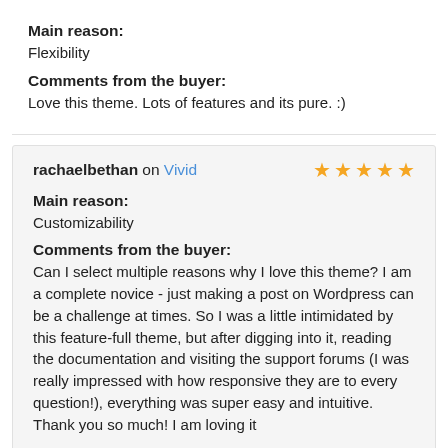Main reason:
Flexibility
Comments from the buyer:
Love this theme. Lots of features and its pure. :)
rachaelbethan on Vivid — 5 stars
Main reason:
Customizability
Comments from the buyer:
Can I select multiple reasons why I love this theme? I am a complete novice - just making a post on Wordpress can be a challenge at times. So I was a little intimidated by this feature-full theme, but after digging into it, reading the documentation and visiting the support forums (I was really impressed with how responsive they are to every question!), everything was super easy and intuitive. Thank you so much! I am loving it